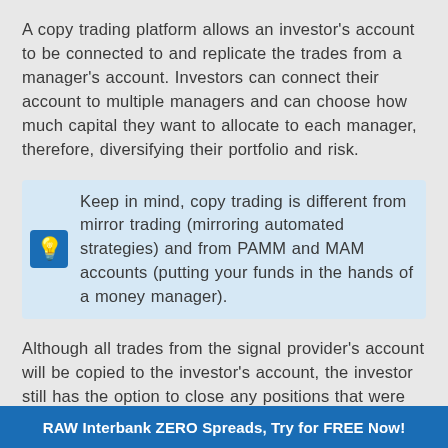A copy trading platform allows an investor's account to be connected to and replicate the trades from a manager's account. Investors can connect their account to multiple managers and can choose how much capital they want to allocate to each manager, therefore, diversifying their portfolio and risk.
Keep in mind, copy trading is different from mirror trading (mirroring automated strategies) and from PAMM and MAM accounts (putting your funds in the hands of a money manager).
Although all trades from the signal provider's account will be copied to the investor's account, the investor still has the option to close any positions that were automatically opened. And this is an
RAW Interbank ZERO Spreads, Try for FREE Now!